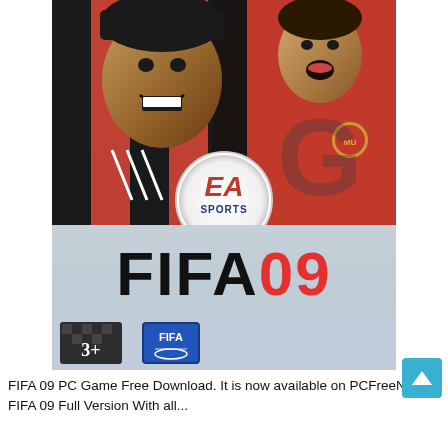[Figure (photo): FIFA 09 PC game box cover art showing two football players (one in AC Milan black/red jersey, one in Manchester United red jersey) with EA SPORTS logo circle in the center, FIFA 09 title text below, and PEGI 3+ rating and FIFA badge at the bottom.]
FIFA 09 PC Game Free Download. It is now available on PCFreeNow. FIFA 09 Full Version With all...